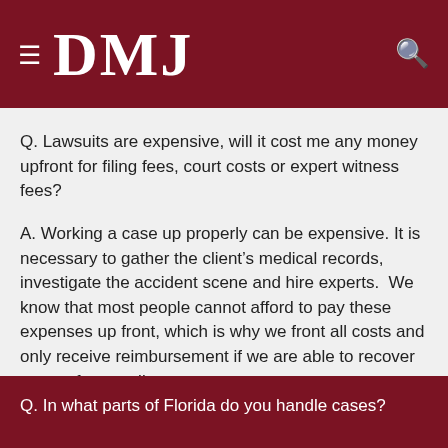DMJ
Q. Lawsuits are expensive, will it cost me any money upfront for filing fees, court costs or expert witness fees?
A. Working a case up properly can be expensive. It is necessary to gather the client’s medical records, investigate the accident scene and hire experts.  We know that most people cannot afford to pay these expenses up front, which is why we front all costs and only receive reimbursement if we are able to recover money for our client.
Q. In what parts of Florida do you handle cases?